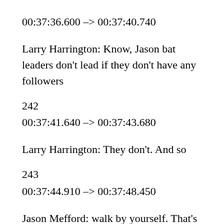00:37:36.600 –> 00:37:40.740
Larry Harrington: Know, Jason bat leaders don't lead if they don't have any followers
242
00:37:41.640 –> 00:37:43.680
Larry Harrington: They don't. And so
243
00:37:44.910 –> 00:37:48.450
Jason Mefford: walk by yourself. That's correct. Following you know...